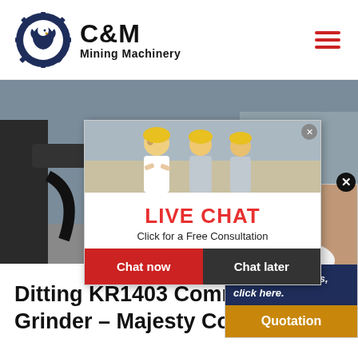[Figure (logo): C&M Mining Machinery logo with eagle/gear icon and company name]
[Figure (photo): Industrial mining equipment / excavator in outdoor setting, banner image]
[Figure (infographic): Live Chat popup overlay with workers in hard hats, Chat now and Chat later buttons]
[Figure (photo): Customer service representative with headset, right-side popup with 'Have any requests, click here.' text and Quotation button]
Ditting KR1403 Commercial Grinder – Majesty Coffee